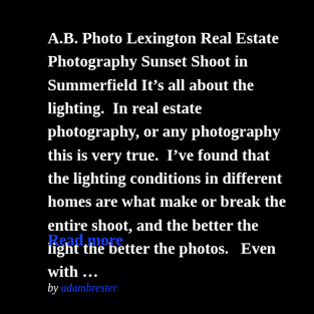A.B. Photo Lexington Real Estate Photography Sunset Shoot in Summerfield It's all about the lighting.  In real estate photography, or any photography this is very true.  I've found that the lighting conditions in different homes are what make or break the entire shoot, and the better the light the better the photos.   Even with …
Read more
by adambrester